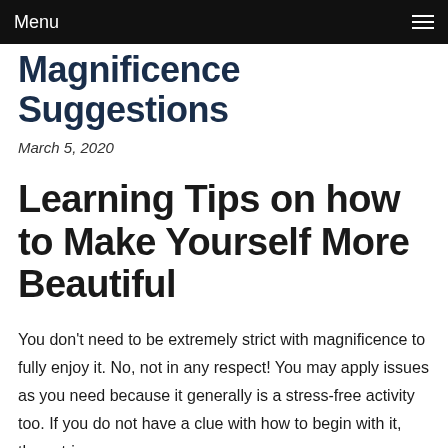Menu
Magnificence Suggestions
March 5, 2020
Learning Tips on how to Make Yourself More Beautiful
You don't need to be extremely strict with magnificence to fully enjoy it. No, not in any respect! You may apply issues as you need because it generally is a stress-free activity too. If you do not have a clue with how to begin with it, then strive...